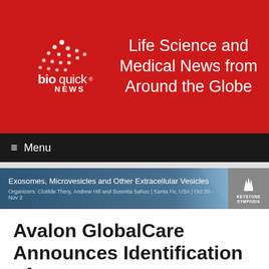[Figure (logo): BioQuick News logo with dotted bird/cross shape on red background, text 'bioquick NEWS' with registered trademark symbol]
Life Science and Medical News from Around the Globe
Menu
[Figure (infographic): Conference banner for 'Exosomes, Microvesicles and Other Extracellular Vesicles' with Keystone Symposia logo. Organizers: Clotilde Thery, Andrew Hill and Susmita Sahoo | Santa Fe, USA | Oct 30 - Nov 2]
Avalon GlobalCare Announces Identification of